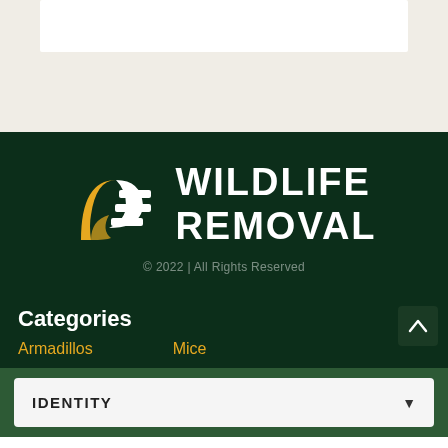[Figure (logo): Wildlife Removal logo with stylized leaf/animal icon in gold and white on dark green background, with text WILDLIFE REMOVAL]
© 2022 | All Rights Reserved
Categories
Armadillos
Mice
IDENTITY